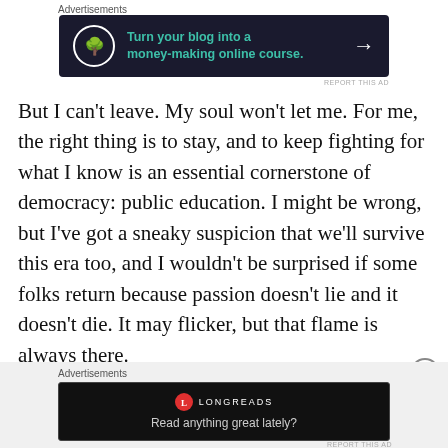Advertisements
[Figure (infographic): Dark advertisement banner: bonsai tree icon in white circle, teal text 'Turn your blog into a money-making online course.' with white arrow on dark/navy background]
REPORT THIS AD
But I can’t leave. My soul won’t let me. For me, the right thing is to stay, and to keep fighting for what I know is an essential cornerstone of democracy: public education. I might be wrong, but I’ve got a sneaky suspicion that we’ll survive this era too, and I wouldn’t be surprised if some folks return because passion doesn’t lie and it doesn’t die. It may flicker, but that flame is always there.
Advertisements
[Figure (infographic): Dark Longreads advertisement banner with red circular logo, white LONGREADS text, and tagline 'Read anything great lately?']